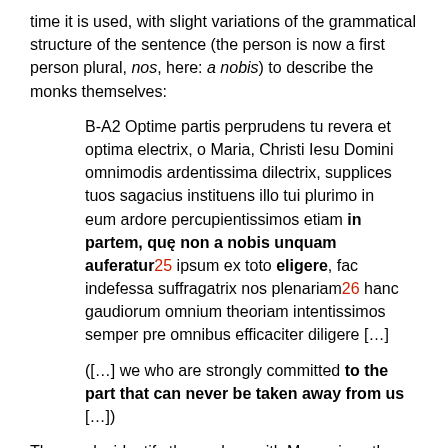time it is used, with slight variations of the grammatical structure of the sentence (the person is now a first person plural, nos, here: a nobis) to describe the monks themselves:
B-A2 Optime partis perprudens tu revera et optima electrix, o Maria, Christi Iesu Domini omnimodis ardentissima dilectrix, supplices tuos sagacius instituens illo tui plurimo in eum ardore percupientissimos etiam in partem, quę non a nobis unquam auferatur[25] ipsum ex toto eligere, fac indefessa suffragatrix nos plenariam[26] hanc gaudiorum omnium theoriam intentissimos semper pre omnibus efficaciter diligere […]
([…] we who are strongly committed to the part that can never be taken away from us […])
The monks identify themselves with Mary, since they both made the same decision to dedicate their lives to contemplatio.
It is precisely in this analogy between the monks and Mary